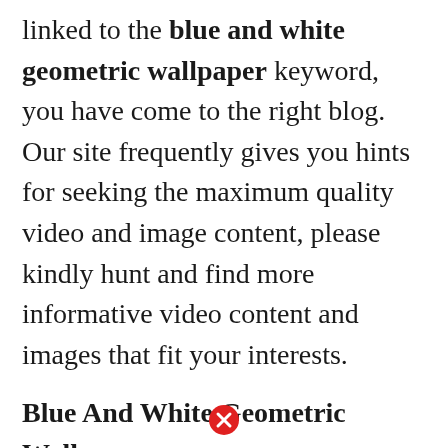linked to the blue and white geometric wallpaper keyword, you have come to the right blog. Our site frequently gives you hints for seeking the maximum quality video and image content, please kindly hunt and find more informative video content and images that fit your interests.
Blue And White Geometric Wallpaper.
The shapes provide a simplistic elegance and style that few other styles can match. You can select a style that accentuates a